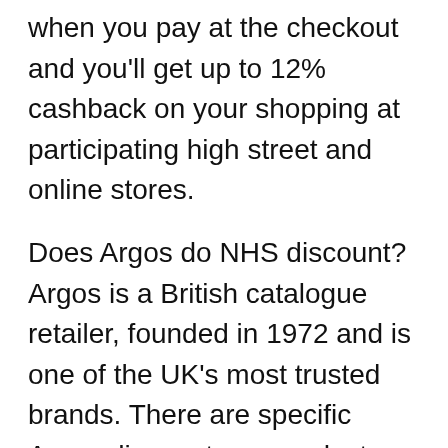when you pay at the checkout and you'll get up to 12% cashback on your shopping at participating high street and online stores.
Does Argos do NHS discount? Argos is a British catalogue retailer, founded in 1972 and is one of the UK's most trusted brands. There are specific Argos discounts on products bought